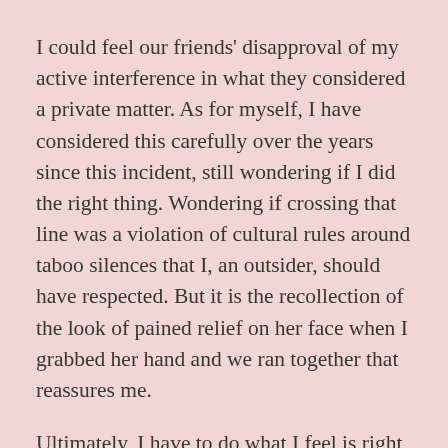I could feel our friends' disapproval of my active interference in what they considered a private matter. As for myself, I have considered this carefully over the years since this incident, still wondering if I did the right thing. Wondering if crossing that line was a violation of cultural rules around taboo silences that I, an outsider, should have respected. But it is the recollection of the look of pained relief on her face when I grabbed her hand and we ran together that reassures me.
Ultimately, I have to do what I feel is right for the person I am truly responsible to – my friend, my fellow human. Cultural relativism can leave us believing we are doing justice to some vague ideal of so-called respect even as we betray ourselves, letting silence replace the necessary ethical considerations. In my opinion, I would